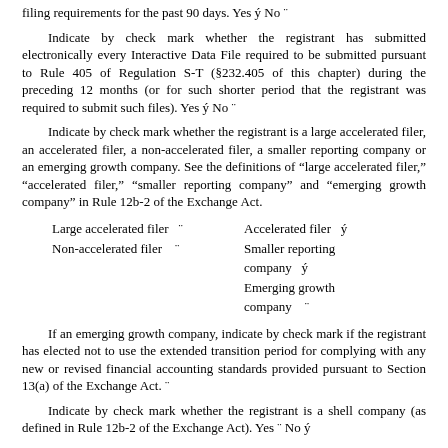filing requirements for the past 90 days. Yes ý No ¨
Indicate by check mark whether the registrant has submitted electronically every Interactive Data File required to be submitted pursuant to Rule 405 of Regulation S-T (§232.405 of this chapter) during the preceding 12 months (or for such shorter period that the registrant was required to submit such files). Yes ý No ¨
Indicate by check mark whether the registrant is a large accelerated filer, an accelerated filer, a non-accelerated filer, a smaller reporting company or an emerging growth company. See the definitions of "large accelerated filer," "accelerated filer," "smaller reporting company" and "emerging growth company" in Rule 12b-2 of the Exchange Act.
Large accelerated filer  ¨    Accelerated filer  ý
Non-accelerated filer  ¨    Smaller reporting company  ý
                            Emerging growth company  ¨
If an emerging growth company, indicate by check mark if the registrant has elected not to use the extended transition period for complying with any new or revised financial accounting standards provided pursuant to Section 13(a) of the Exchange Act. ¨
Indicate by check mark whether the registrant is a shell company (as defined in Rule 12b-2 of the Exchange Act). Yes ¨ No ý